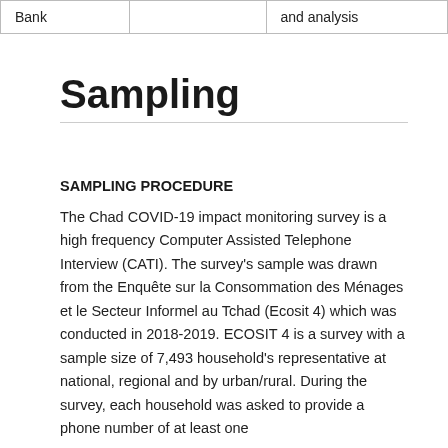| Bank |  | and analysis |
Sampling
SAMPLING PROCEDURE
The Chad COVID-19 impact monitoring survey is a high frequency Computer Assisted Telephone Interview (CATI). The survey's sample was drawn from the Enquête sur la Consommation des Ménages et le Secteur Informel au Tchad (Ecosit 4) which was conducted in 2018-2019. ECOSIT 4 is a survey with a sample size of 7,493 household's representative at national, regional and by urban/rural. During the survey, each household was asked to provide a phone number of at least one